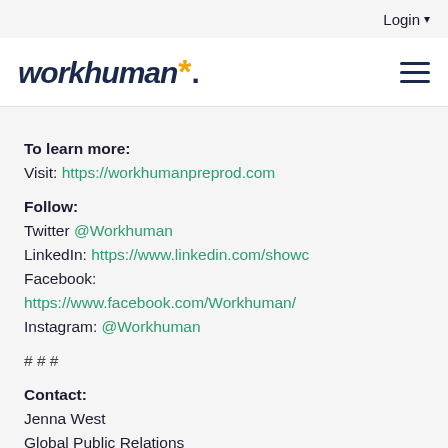Login
[Figure (logo): Workhuman logo with asterisk and hamburger menu]
To learn more:
Visit: https://workhumanpreprod.com
Follow:
Twitter @Workhuman
LinkedIn: https://www.linkedin.com/show...
Facebook: https://www.facebook.com/Workhuman/
Instagram: @Workhuman
# # #
Contact:
Jenna West
Global Public Relations
Manager
Jenna.West@Workhuman.com
Share